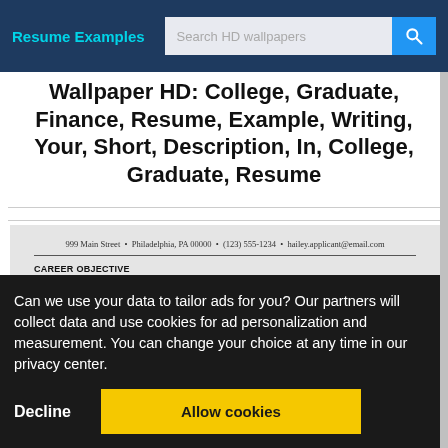Resume Examples | Search HD wallpapers
Wallpaper HD: College, Graduate, Finance, Resume, Example, Writing, Your, Short, Description, In, College, Graduate, Resume
[Figure (screenshot): Partial resume preview showing contact info (999 Main Street • Philadelphia, PA 00000 • (123) 555-1234 • hailey.applicant@email.com), a horizontal rule, CAREER OBJECTIVE section header, and text: Honors student and college graduate seeks a position with a top financial firm.]
Can we use your data to tailor ads for you? Our partners will collect data and use cookies for ad personalization and measurement. You can change your choice at any time in our privacy center.
Decline
Allow cookies